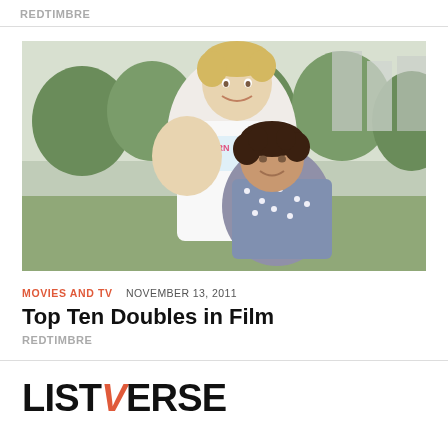REDTIMBRE
[Figure (photo): Two men hugging outdoors — a tall muscular man in a white t-shirt with 'BORN' text smiling down at a shorter man with dark curly hair wearing a floral shirt, trees and buildings in background]
MOVIES AND TV   NOVEMBER 13, 2011
Top Ten Doubles in Film
REDTIMBRE
LISTVERSE